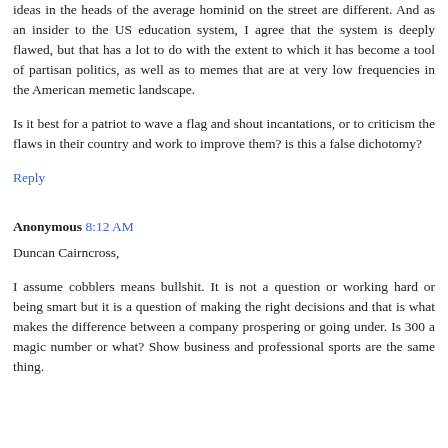ideas in the heads of the average hominid on the street are different. And as an insider to the US education system, I agree that the system is deeply flawed, but that has a lot to do with the extent to which it has become a tool of partisan politics, as well as to memes that are at very low frequencies in the American memetic landscape.
Is it best for a patriot to wave a flag and shout incantations, or to criticism the flaws in their country and work to improve them? is this a false dichotomy?
Reply
Anonymous 8:12 AM
Duncan Cairncross,
I assume cobblers means bullshit. It is not a question or working hard or being smart but it is a question of making the right decisions and that is what makes the difference between a company prospering or going under. Is 300 a magic number or what? Show business and professional sports are the same thing.